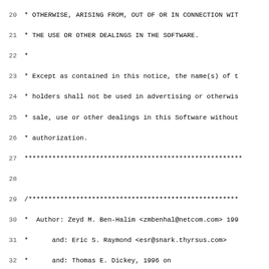Source code listing of tparm.c (ncurses), lines 20-51. Contains license continuation, author attribution, includes, module ID, and function comment header.